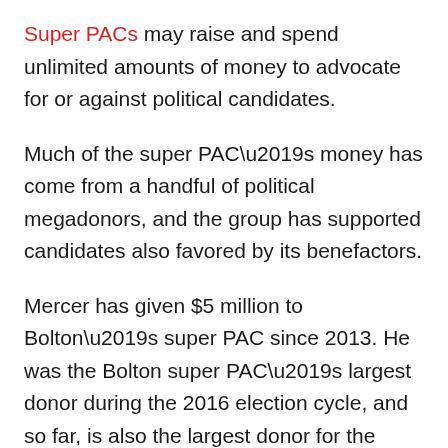Super PACs may raise and spend unlimited amounts of money to advocate for or against political candidates.
Much of the super PAC's money has come from a handful of political megadonors, and the group has supported candidates also favored by its benefactors.
Mercer has given $5 million to Bolton's super PAC since 2013. He was the Bolton super PAC's largest donor during the 2016 election cycle, and so far, is also the largest donor for the 2018 election cycle, an analysis of federal campaign finance filings show. Mercer has also financially backed Cambridge Analytica.